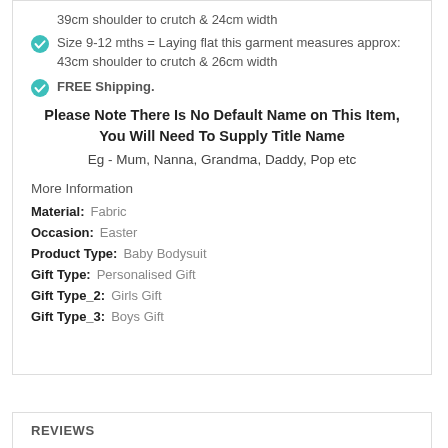39cm shoulder to crutch & 24cm width
Size 9-12 mths = Laying flat this garment measures approx: 43cm shoulder to crutch & 26cm width
FREE Shipping.
Please Note There Is No Default Name on This Item, You Will Need To Supply Title Name
Eg - Mum, Nanna, Grandma, Daddy, Pop etc
More Information
Material:   Fabric
Occasion:   Easter
Product Type:   Baby Bodysuit
Gift Type:   Personalised Gift
Gift Type_2:   Girls Gift
Gift Type_3:   Boys Gift
REVIEWS